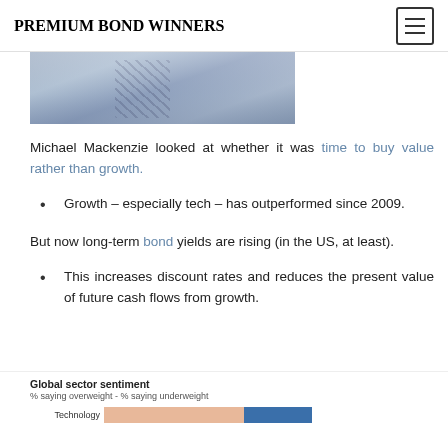PREMIUM BOND WINNERS
[Figure (photo): Partial photo of a person wearing a suit and striped tie, cropped to show the torso/chest area only.]
Michael Mackenzie looked at whether it was time to buy value rather than growth.
Growth – especially tech – has outperformed since 2009.
But now long-term bond yields are rising (in the US, at least).
This increases discount rates and reduces the present value of future cash flows from growth.
[Figure (bar-chart): % saying overweight - % saying underweight. Shows Technology sector bar, partially visible.]